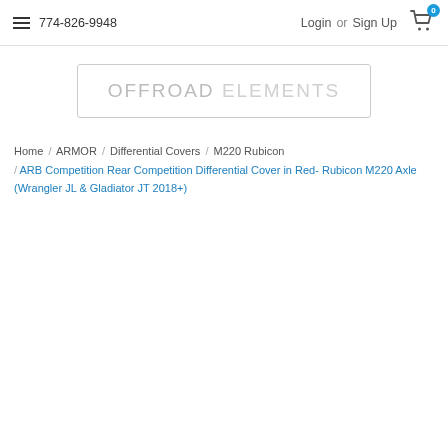774-826-9948   Login or  Sign Up   0
[Figure (logo): OFFROAD ELEMENTS logo in a rectangular border, light grey text]
Home / ARMOR / Differential Covers / M220 Rubicon / ARB Competition Rear Competition Differential Cover in Red- Rubicon M220 Axle (Wrangler JL & Gladiator JT 2018+)